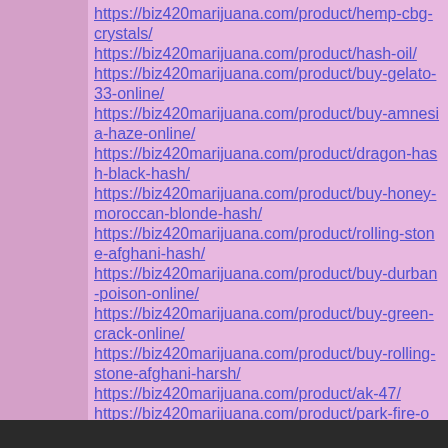https://biz420marijuana.com/product/hemp-cbg-crystals/
https://biz420marijuana.com/product/hash-oil/
https://biz420marijuana.com/product/buy-gelato-33-online/
https://biz420marijuana.com/product/buy-amnesia-haze-online/
https://biz420marijuana.com/product/dragon-hash-black-hash/
https://biz420marijuana.com/product/buy-honey-moroccan-blonde-hash/
https://biz420marijuana.com/product/rolling-stone-afghani-hash/
https://biz420marijuana.com/product/buy-durban-poison-online/
https://biz420marijuana.com/product/buy-green-crack-online/
https://biz420marijuana.com/product/buy-rolling-stone-afghani-harsh/
https://biz420marijuana.com/product/ak-47/
https://biz420marijuana.com/product/park-fire-og/
https://biz420marijuana.com/product/big-deal-california-orange/
[ Post a Reply to This Message ]